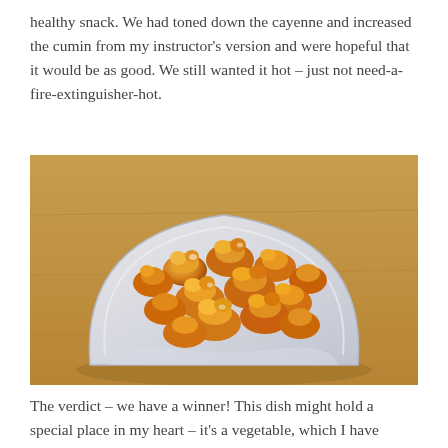healthy snack. We had toned down the cayenne and increased the cumin from my instructor's version and were hopeful that it would be as good. We still wanted it hot – just not need-a-fire-extinguisher-hot.
[Figure (photo): A square white plate piled with roasted spiced cauliflower florets coated in golden-orange spices, photographed on a wooden table surface.]
The verdict – we have a winner! This dish might hold a special place in my heart – it's a vegetable, which I have